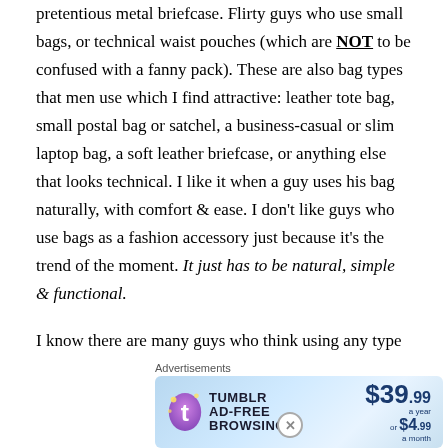pretentious metal briefcase.  Flirty guys who use small bags, or technical waist pouches (which are NOT to be confused with a fanny pack).  These are also bag types that men use which I find attractive: leather tote bag, small postal bag or satchel, a business-casual or slim laptop bag, a soft leather briefcase, or anything else that looks technical.  I like it when a guy uses his bag naturally, with comfort & ease.  I don't like guys who use bags as a fashion accessory just because it's the trend of the moment.  It just has to be natural, simple & functional.

I know there are many guys who think using any type of bag, other than for school/work or grocery shopping, is not cool or acceptable in any way.  To those men, using a bag
Advertisements
[Figure (other): Tumblr Ad-Free Browsing advertisement banner showing $39.99 a year or $4.99 a month pricing with Tumblr logo]